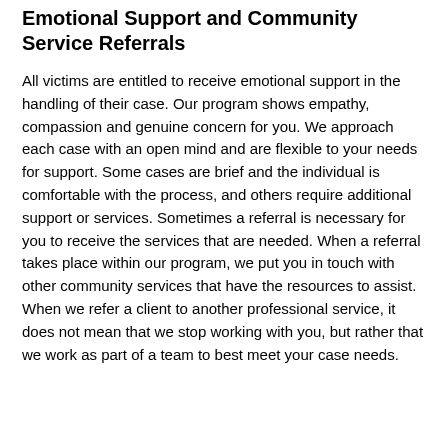Emotional Support and Community Service Referrals
All victims are entitled to receive emotional support in the handling of their case. Our program shows empathy, compassion and genuine concern for you. We approach each case with an open mind and are flexible to your needs for support. Some cases are brief and the individual is comfortable with the process, and others require additional support or services. Sometimes a referral is necessary for you to receive the services that are needed. When a referral takes place within our program, we put you in touch with other community services that have the resources to assist. When we refer a client to another professional service, it does not mean that we stop working with you, but rather that we work as part of a team to best meet your case needs.